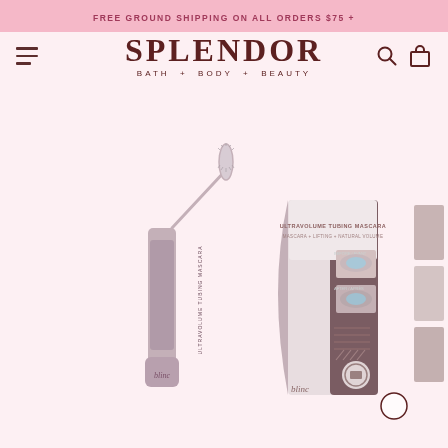FREE GROUND SHIPPING ON ALL ORDERS $75 +
[Figure (logo): Splendor Bath + Body + Beauty logo with hamburger menu, search icon, and shopping bag icon in navigation bar]
[Figure (photo): Blinc Ultravolume Tubing Mascara product photo showing mascara tube with wand and product box packaging with before/after eye photos]